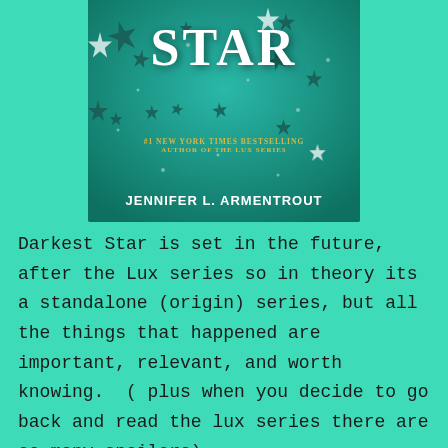[Figure (illustration): Book cover of 'Darkest Star' by Jennifer L. Armentrout. Teal/green background with scattered silver and dark stars. Title 'STAR' visible in white serif font. Text '#1 NEW YORK TIMES BESTSELLING AUTHOR OF THE LUX SERIES' in gold, and 'JENNIFER L. ARMENTROUT' in white bold font at the bottom.]
Darkest Star is set in the future, after the Lux series so in theory its a standalone (origin) series, but all the things that happened are important, relevant, and worth knowing.  ( plus when you decide to go back and read the lux series there are so many spoilers)